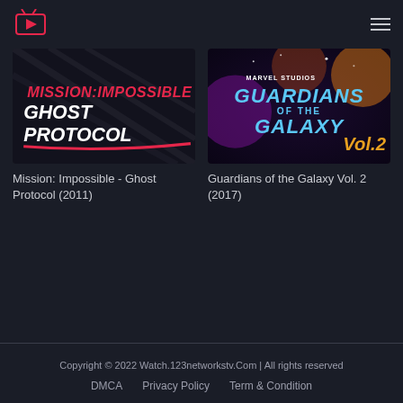[Figure (logo): Streaming TV logo: red TV icon with play button arrow inside a red-bordered rectangle with antenna, positioned top-left]
[Figure (photo): Movie thumbnail for Mission: Impossible - Ghost Protocol showing title text in bold red and white on dark background]
Mission: Impossible - Ghost Protocol (2011)
[Figure (photo): Movie thumbnail for Guardians of the Galaxy Vol. 2 showing Marvel Studios branding with colorful sci-fi artwork]
Guardians of the Galaxy Vol. 2 (2017)
Copyright © 2022 Watch.123networkstv.Com | All rights reserved
DMCA    Privacy Policy    Term & Condition